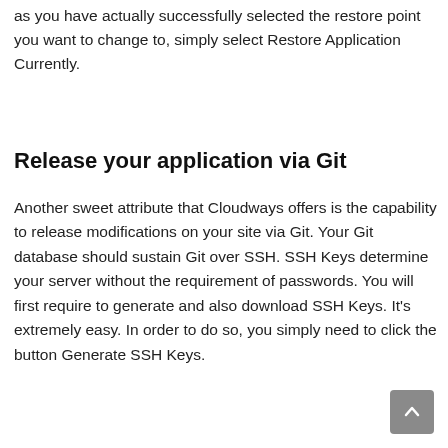as you have actually successfully selected the restore point you want to change to, simply select Restore Application Currently.
Release your application via Git
Another sweet attribute that Cloudways offers is the capability to release modifications on your site via Git. Your Git database should sustain Git over SSH. SSH Keys determine your server without the requirement of passwords. You will first require to generate and also download SSH Keys. It's extremely easy. In order to do so, you simply need to click the button Generate SSH Keys.